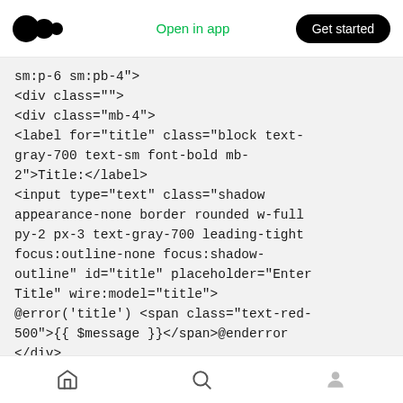Open in app | Get started
sm:p-6 sm:pb-4">
<div class="">
<div class="mb-4">
<label for="title" class="block text-gray-700 text-sm font-bold mb-2">Title:</label>
<input type="text" class="shadow appearance-none border rounded w-full py-2 px-3 text-gray-700 leading-tight focus:outline-none focus:shadow-outline" id="title" placeholder="Enter Title" wire:model="title">
@error('title') <span class="text-red-500">{{ $message }}</span>@enderror
</div>

<div class="mb-4">
<label for="content" class="block
home | search | profile